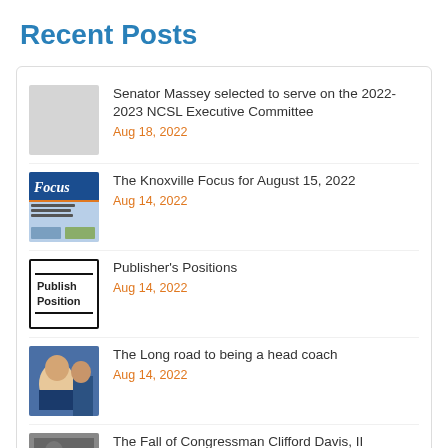Recent Posts
Senator Massey selected to serve on the 2022-2023 NCSL Executive Committee
Aug 18, 2022
The Knoxville Focus for August 15, 2022
Aug 14, 2022
Publisher's Positions
Aug 14, 2022
The Long road to being a head coach
Aug 14, 2022
The Fall of Congressman Clifford Davis, II